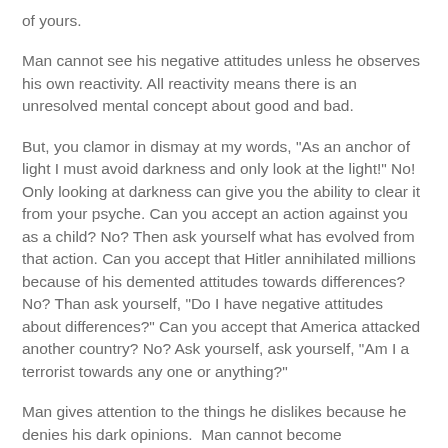of yours.
Man cannot see his negative attitudes unless he observes his own reactivity. All reactivity means there is an unresolved mental concept about good and bad.
But, you clamor in dismay at my words, "As an anchor of light I must avoid darkness and only look at the light!" No! Only looking at darkness can give you the ability to clear it from your psyche. Can you accept an action against you as a child? No? Then ask yourself what has evolved from that action. Can you accept that Hitler annihilated millions because of his demented attitudes towards differences? No? Than ask yourself, "Do I have negative attitudes about differences?" Can you accept that America attacked another country? No? Ask yourself, ask yourself, "Am I a terrorist towards any one or anything?"
Man gives attention to the things he dislikes because he denies his dark opinions.  Man cannot become unconditionally loving unless he drops these dark attitudes. Not allowing yourself to even observe darkness can cause